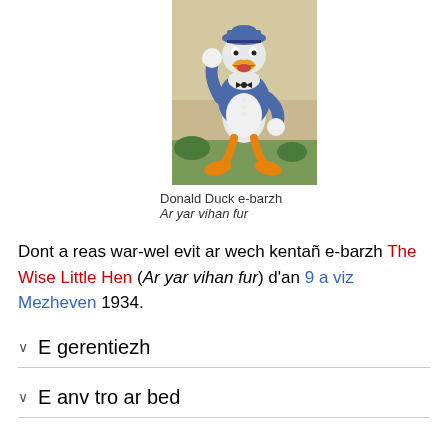[Figure (illustration): Donald Duck cartoon character illustration from The Wise Little Hen, showing Donald Duck standing in a blue sailor outfit]
Donald Duck e-barzh
Ar yar vihan fur
Dont a reas war-wel evit ar wech kentañ e-barzh The Wise Little Hen (Ar yar vihan fur) d'an 9 a viz Mezheven 1934.
E gerentiezh
E anv tro ar bed